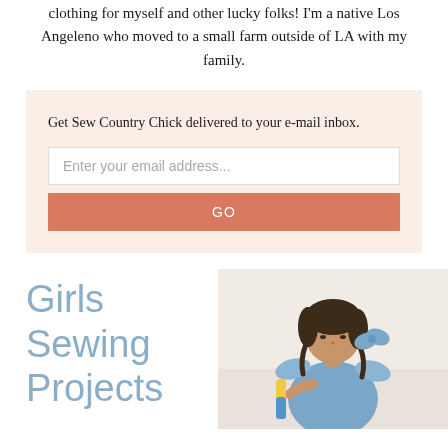clothing for myself and other lucky folks! I'm a native Los Angeleno who moved to a small farm outside of LA with my family.
Get Sew Country Chick delivered to your e-mail inbox.
Enter your email address...
GO
Girls Sewing Projects
[Figure (photo): A young girl with braided dark hair wearing a blue sleeveless dress with ruffle shoulders, holding what appears to be a yellow and blue marker or pen, looking downward.]